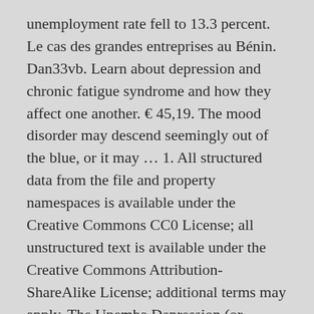unemployment rate fell to 13.3 percent. Le cas des grandes entreprises au Bénin. Dan33vb. Learn about depression and chronic fatigue syndrome and how they affect one another. € 45,19. The mood disorder may descend seemingly out of the blue, or it may ... 1. All structured data from the file and property namespaces is available under the Creative Commons CC0 License; all unstructured text is available under the Creative Commons Attribution-ShareAlike License; additional terms may apply. The Upemba Depression (or Kamalondo Depression) is a large marshy bowl area in the Democratic Republic of the Congo comprising some fifty lakes, including 22 of